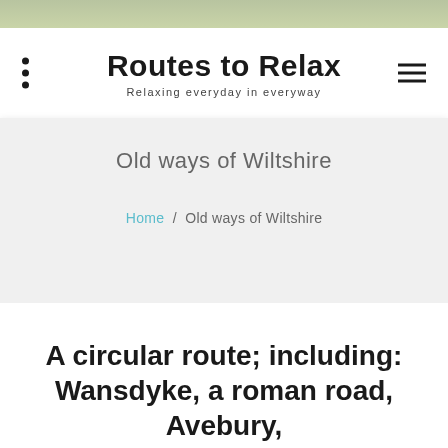[Figure (photo): Top strip showing outdoor scenic image, appears to be a road or pathway in countryside]
Routes to Relax
Relaxing everyday in everyway
Old ways of Wiltshire
Home / Old ways of Wiltshire
A circular route; including:
Wansdyke, a roman road, Avebury,